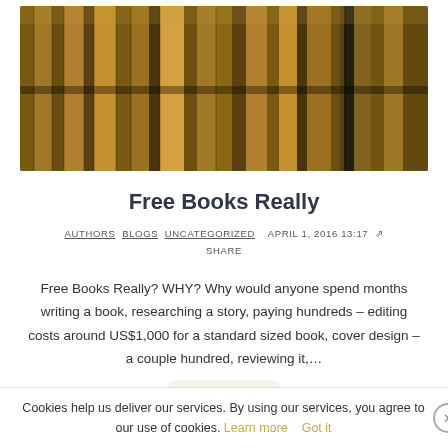[Figure (photo): Rows of old leather-bound books on library shelves, photographed from a low angle looking along the aisle, warm amber and brown tones]
Free Books Really
AUTHORS  BLOGS  UNCATEGORIZED     APRIL 1, 2016 13:17  ↗
SHARE
Free Books Really? WHY? Why would anyone spend months writing a book, researching a story, paying hundreds – editing costs around US$1,000 for a standard sized book, cover design – a couple hundred, reviewing it,…
Cookies help us deliver our services. By using our services, you agree to our use of cookies. Learn more   Got it